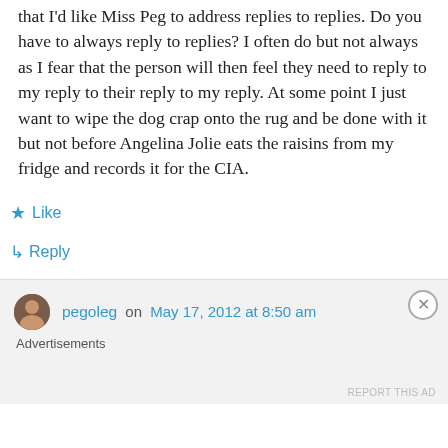that I'd like Miss Peg to address replies to replies. Do you have to always reply to replies? I often do but not always as I fear that the person will then feel they need to reply to my reply to their reply to my reply. At some point I just want to wipe the dog crap onto the rug and be done with it but not before Angelina Jolie eats the raisins from my fridge and records it for the CIA.
★ Like
↪ Reply
pegoleg on May 17, 2012 at 8:50 am
Advertisements